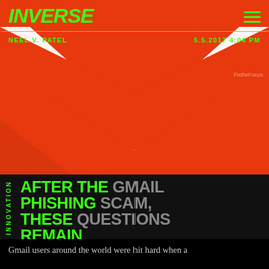[Figure (photo): Hero image showing a Gmail logo (red envelope with white M shape) on a red background]
INVERSE
NEEL V. PATEL   5.5.2017 4:04 PM
AFTER THE GMAIL PHISHING SCAM, THESE QUESTIONS REMAIN
The attack didn't really do anything that severe. So what gives?
Gmail users around the world were hit hard when a